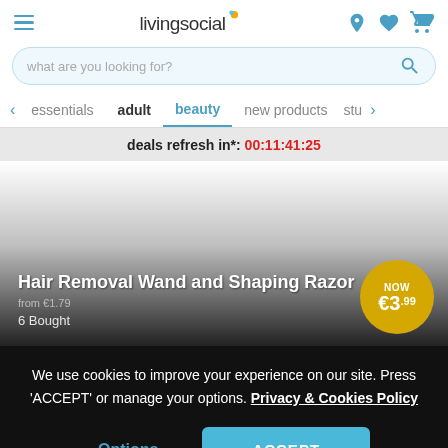livingsocial
what are you looking for?
essentials  adult  beauty  new products  stu
deals refresh in*: 00:11:41:25
Hair Removal Wand and Shaping Razor
from €1.79
6 Bought
NOW €3.99
We use cookies to improve your experience on our site. Press 'ACCEPT' or manage your options. Privacy & Cookies Policy
Options
ACCEPT